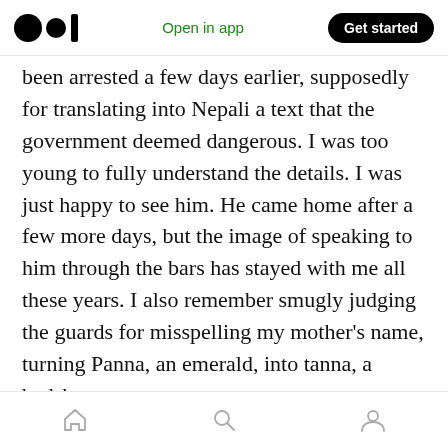Medium logo | Open in app | Get started
been arrested a few days earlier, supposedly for translating into Nepali a text that the government deemed dangerous. I was too young to fully understand the details. I was just happy to see him. He came home after a few more days, but the image of speaking to him through the bars has stayed with me all these years. I also remember smugly judging the guards for misspelling my mother's name, turning Panna, an emerald, into tanna, a bedsheet.
It was not the first time my father had suffered from state-sanctioned violence. As a teenager, he
Home | Search | Profile